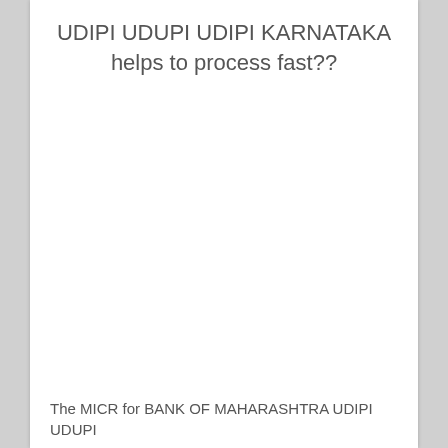UDIPI UDUPI UDIPI KARNATAKA helps to process fast??
The MICR for BANK OF MAHARASHTRA UDIPI UDUPI